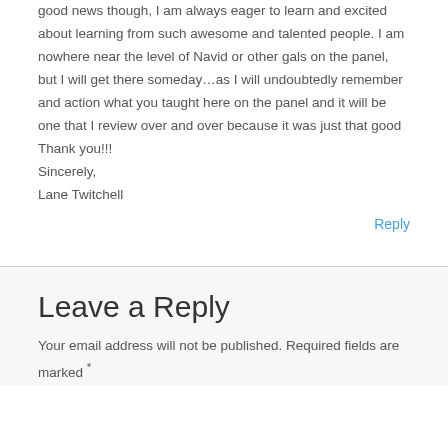good news though, I am always eager to learn and excited about learning from such awesome and talented people. I am nowhere near the level of Navid or other gals on the panel, but I will get there someday…as I will undoubtedly remember and action what you taught here on the panel and it will be one that I review over and over because it was just that good
Thank you!!!
Sincerely,
Lane Twitchell
Reply
Leave a Reply
Your email address will not be published. Required fields are marked *